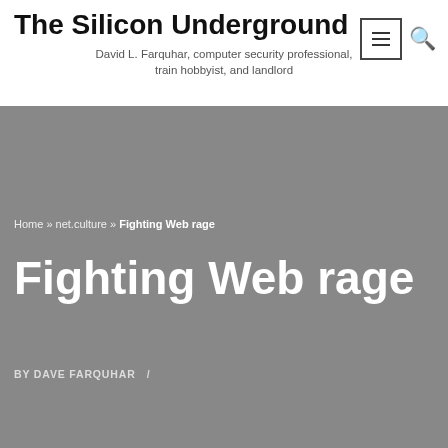The Silicon Underground
David L. Farquhar, computer security professional, train hobbyist, and landlord
Home » net.culture » Fighting Web rage
Fighting Web rage
BY DAVE FARQUHAR  /